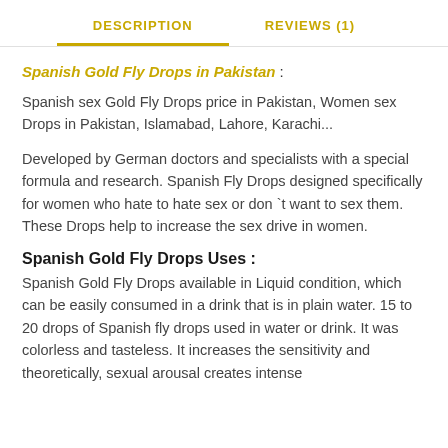DESCRIPTION    REVIEWS (1)
Spanish Gold Fly Drops in Pakistan :
Spanish sex Gold Fly Drops price in Pakistan, Women sex Drops in Pakistan, Islamabad, Lahore, Karachi...
Developed by German doctors and specialists with a special formula and research. Spanish Fly Drops designed specifically for women who hate to hate sex or don `t want to sex them. These Drops help to increase the sex drive in women.
Spanish Gold Fly Drops Uses :
Spanish Gold Fly Drops available in Liquid condition, which can be easily consumed in a drink that is in plain water. 15 to 20 drops of Spanish fly drops used in water or drink. It was colorless and tasteless. It increases the sensitivity and theoretically, sexual arousal creates intense